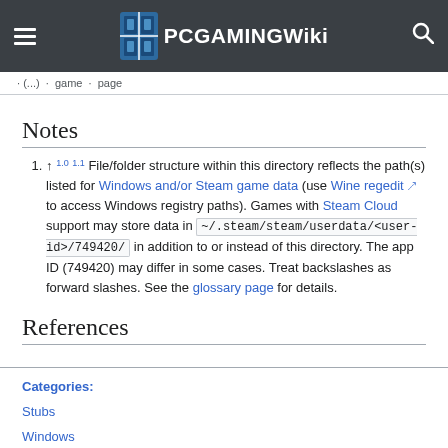PCGamingWiki
Notes
↑ 1.0 1.1 File/folder structure within this directory reflects the path(s) listed for Windows and/or Steam game data (use Wine regedit to access Windows registry paths). Games with Steam Cloud support may store data in ~/.steam/steam/userdata/<user-id>/749420/ in addition to or instead of this directory. The app ID (749420) may differ in some cases. Treat backslashes as forward slashes. See the glossary page for details.
References
Categories: Stubs Windows